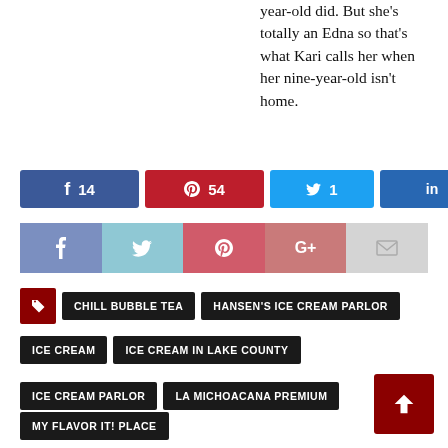year-old did. But she's totally an Edna so that's what Kari calls her when her nine-year-old isn't home.
[Figure (infographic): Social share buttons row: Facebook (14), Pinterest (54), Twitter (1), LinkedIn, and a share count of 69 SHARES]
[Figure (infographic): Second social share icon row: Facebook, Twitter, Pinterest, Google+, Email buttons]
CHILL BUBBLE TEA
HANSEN'S ICE CREAM PARLOR
ICE CREAM
ICE CREAM IN LAKE COUNTY
ICE CREAM PARLOR
LA MICHOACANA PREMIUM
MY FLAVOR IT! PLACE